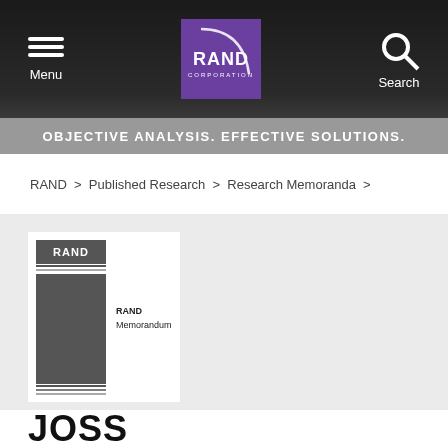[Figure (logo): RAND Corporation website header with dark nav bar, RAND logo (purple background, white text), Menu and Search icons]
OBJECTIVE ANALYSIS. EFFECTIVE SOLUTIONS.
RAND > Published Research > Research Memoranda >
[Figure (photo): RAND Memorandum publication cover thumbnail showing RAND logo and dark gray sidebar]
JOSS